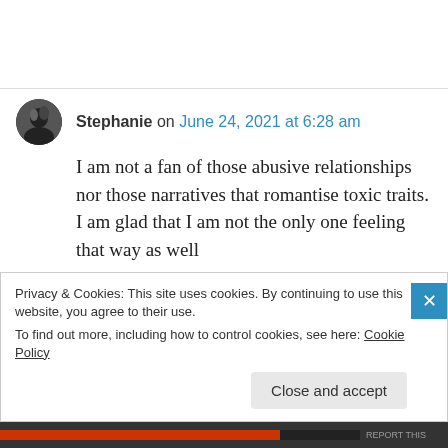Stephanie on June 24, 2021 at 6:28 am
I am not a fan of those abusive relationships nor those narratives that romantise toxic traits. I am glad that I am not the only one feeling that way as well
★ Liked by 1 person
Privacy & Cookies: This site uses cookies. By continuing to use this website, you agree to their use.
To find out more, including how to control cookies, see here: Cookie Policy
Close and accept